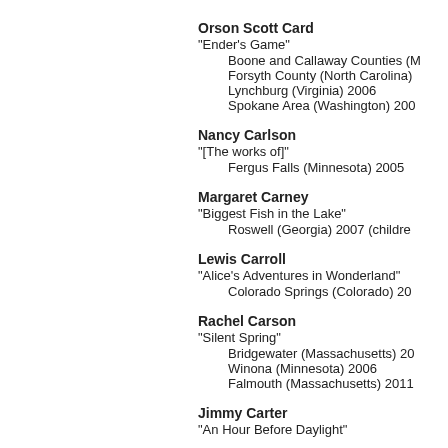Orson Scott Card
"Ender's Game"
    Boone and Callaway Counties (M
    Forsyth County (North Carolina)
    Lynchburg (Virginia) 2006
    Spokane Area (Washington) 200
Nancy Carlson
"[The works of]"
    Fergus Falls (Minnesota) 2005
Margaret Carney
"Biggest Fish in the Lake"
    Roswell (Georgia) 2007 (children
Lewis Carroll
"Alice's Adventures in Wonderland"
    Colorado Springs (Colorado) 20
Rachel Carson
"Silent Spring"
    Bridgewater (Massachusetts) 20
    Winona (Minnesota) 2006
    Falmouth (Massachusetts) 2011
Jimmy Carter
"An Hour Before Daylight"